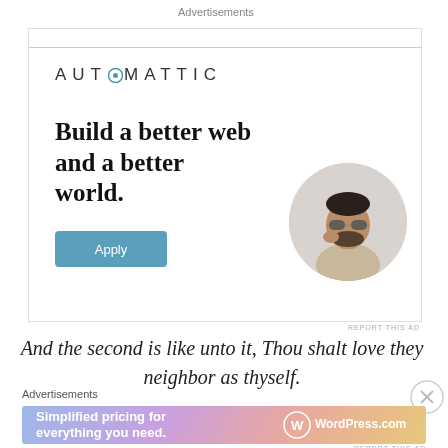Advertisements
[Figure (illustration): Automattic advertisement with logo, headline 'Build a better web and a better world.', Apply button, and a circular portrait photo of a thoughtful man]
REPORT THIS AD
And the second is like unto it, Thou shalt love they neighbor as thyself.
Advertisements
[Figure (illustration): WordPress.com advertisement banner: 'Simplified pricing for everything you need.' with WordPress.com logo on gradient background]
REPORT THIS AD